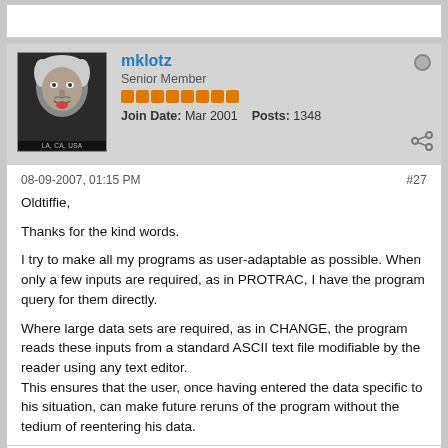[Figure (screenshot): Top partial white card area]
mklotz
Senior Member
Join Date: Mar 2001  Posts: 1348
08-09-2007, 01:15 PM
#27
Oldtiffie,
Thanks for the kind words.
I try to make all my programs as user-adaptable as possible. When only a few inputs are required, as in PROTRAC, I have the program query for them directly.
Where large data sets are required, as in CHANGE, the program reads these inputs from a standard ASCII text file modifiable by the reader using any text editor.
This ensures that the user, once having entered the data specific to his situation, can make future reruns of the program without the tedium of reentering his data.
Lots of folks like to go on about measuring to tenths (0.0001") and arc seconds. Such accuracy is gross overkill in most HSM projects and, furthermore, is probably realistically unachievable in the average HSM